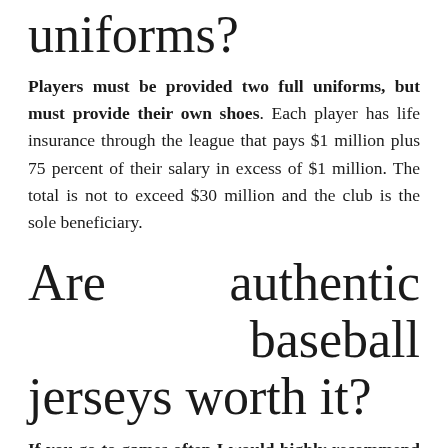uniforms?
Players must be provided two full uniforms, but must provide their own shoes. Each player has life insurance through the league that pays $1 million plus 75 percent of their salary in excess of $1 million. The total is not to exceed $30 million and the club is the sole beneficiary.
Are authentic baseball jerseys worth it?
If you go to games often I would highly recommend the Authentic jerseys due to their durability, but if you don't go often or don't plan to wear your jersey too much I would recommend a Replica.
What is the coolest baseball